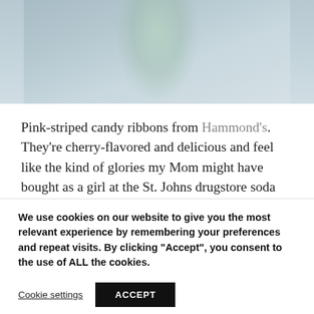[Figure (photo): Partial photo of a glass jar or bowl with green candy ribbons on a blue-gray background, cropped at top]
Pink-striped candy ribbons from Hammond's. They're cherry-flavored and delicious and feel like the kind of glories my Mom might have bought as a girl at the St. Johns drugstore soda fountain.
We use cookies on our website to give you the most relevant experience by remembering your preferences and repeat visits. By clicking "Accept", you consent to the use of ALL the cookies.
Cookie settings  ACCEPT